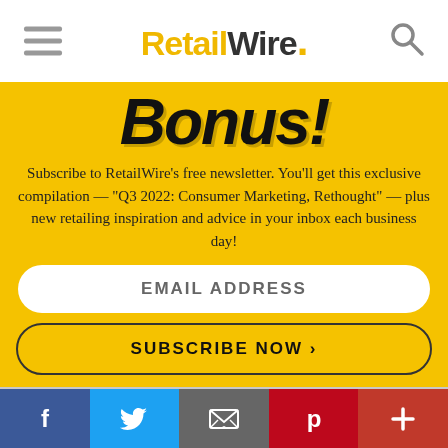RetailWire.
Bonus!
Subscribe to RetailWire's free newsletter. You'll get this exclusive compilation — "Q3 2022: Consumer Marketing, Rethought" — plus new retailing inspiration and advice in your inbox each business day!
EMAIL ADDRESS
SUBSCRIBE NOW ›
buying the products and services that
Facebook Twitter Email Pinterest +